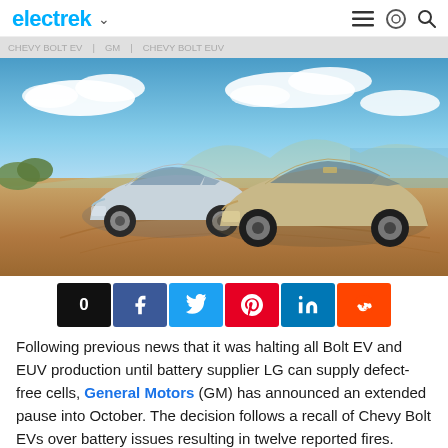electrek
[Figure (photo): Two Chevrolet Bolt EV and EUV electric vehicles parked on a sandy beach with blue sky and clouds in the background.]
[Figure (infographic): Social sharing bar with share count 0, Facebook, Twitter, Pinterest, LinkedIn, and Reddit buttons.]
Following previous news that it was halting all Bolt EV and EUV production until battery supplier LG can supply defect-free cells, General Motors (GM) has announced an extended pause into October. The decision follows a recall of Chevy Bolt EVs over battery issues resulting in twelve reported fires.